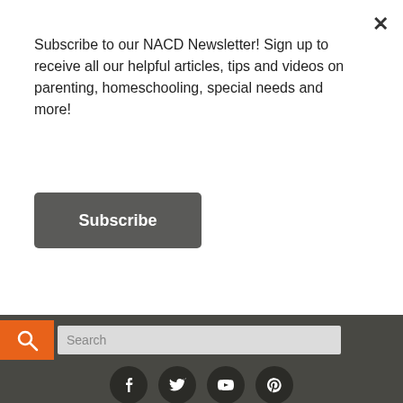Subscribe to our NACD Newsletter! Sign up to receive all our helpful articles, tips and videos on parenting, homeschooling, special needs and more!
Subscribe
[Figure (screenshot): Search bar with orange search icon button and light gray input field showing placeholder text 'Search']
[Figure (infographic): Row of four social media icons (Facebook, Twitter, YouTube, Pinterest) as white icons on dark circular backgrounds]
Get Started
Who We Help
Who We Are